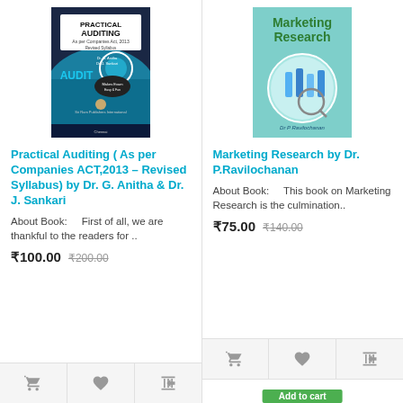[Figure (illustration): Book cover of Practical Auditing with navy blue and teal design, AUDIT text visible]
Practical Auditing ( As per Companies ACT,2013 – Revised Syllabus) by Dr. G. Anitha & Dr. J. Sankari
About Book:      First of all, we are thankful to the readers for ..
₹100.00  ₹200.00
[Figure (illustration): Book cover of Marketing Research with light blue design, magnifying glass graphic, Dr P Ravilochanan]
Marketing Research by Dr. P.Ravilochanan
About Book:      This book on Marketing Research is the culmination..
₹75.00  ₹140.00